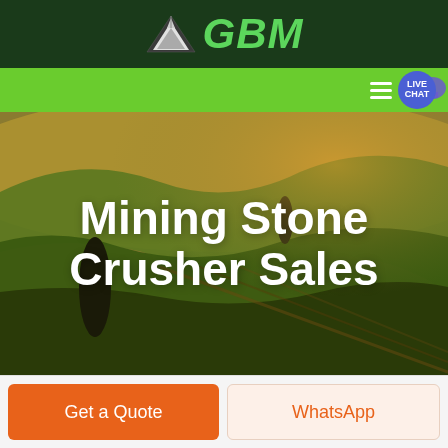[Figure (logo): GBM company logo with triangle/arrow shape in white/grey on dark green background, with green italic bold GBM text]
[Figure (screenshot): Green navigation bar with hamburger menu icon and Live Chat bubble icon on right side]
[Figure (photo): Aerial photo of agricultural fields with rolling hills in warm golden-green tones, with two dark cypress trees]
Mining Stone Crusher Sales
Get a Quote
WhatsApp